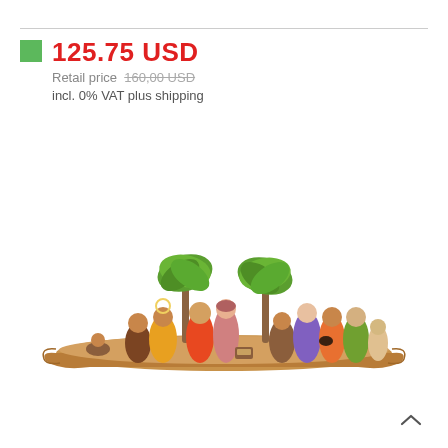125.75 USD
Retail price  160,00 USD
incl. 0% VAT plus shipping
[Figure (photo): Colorful wooden nativity scene figurines arranged on a curved wooden base, with two palm trees and multiple hand-painted figures in bright colors representing a nativity/crib scene.]
^